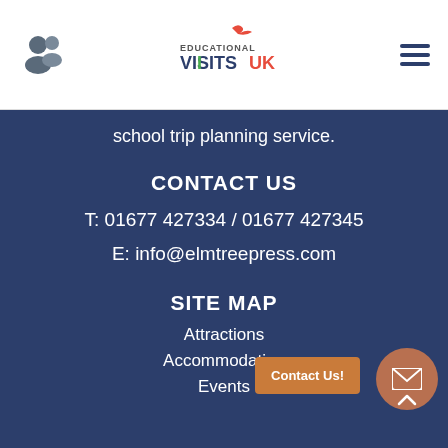Educational Visits UK [logo with navigation icons]
school trip planning service.
CONTACT US
T: 01677 427334 / 01677 427345
E: info@elmtreepress.com
SITE MAP
Attractions
Accommodation
Events